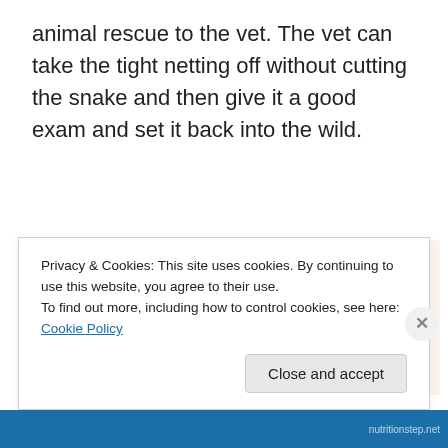animal rescue to the vet. The vet can take the tight netting off without cutting the snake and then give it a good exam and set it back into the wild.
[Figure (photo): A close-up photo of a snake entangled in tight netting/mesh, with a light beige background. The snake's scaly body is visible wrapped in the net material.]
Privacy & Cookies: This site uses cookies. By continuing to use this website, you agree to their use.
To find out more, including how to control cookies, see here: Cookie Policy
Close and accept